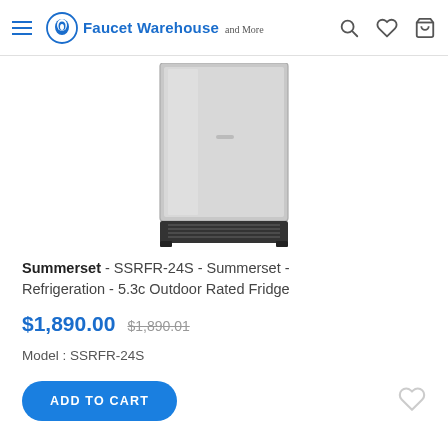Faucet Warehouse and More
[Figure (photo): Front view of a stainless steel outdoor rated undercounter refrigerator (Summerset SSRFR-24S) with vented grill at bottom]
Summerset - SSRFR-24S - Summerset - Refrigeration - 5.3c Outdoor Rated Fridge
$1,890.00  $1,890.01
Model : SSRFR-24S